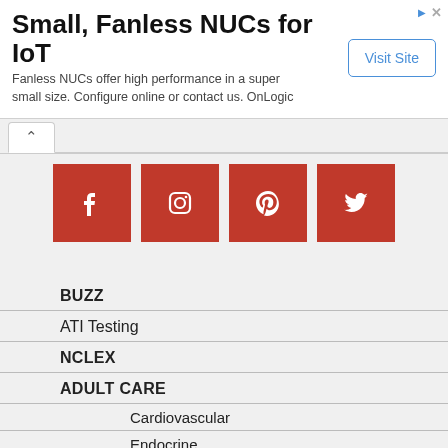[Figure (infographic): Advertisement banner: Small, Fanless NUCs for IoT with Visit Site button]
Small, Fanless NUCs for IoT
Fanless NUCs offer high performance in a super small size. Configure online or contact us. OnLogic
[Figure (infographic): Four red social media icon buttons: Facebook, Instagram, Pinterest, Twitter]
BUZZ
ATI Testing
NCLEX
ADULT CARE
Cardiovascular
Endocrine
Gastrointestinal